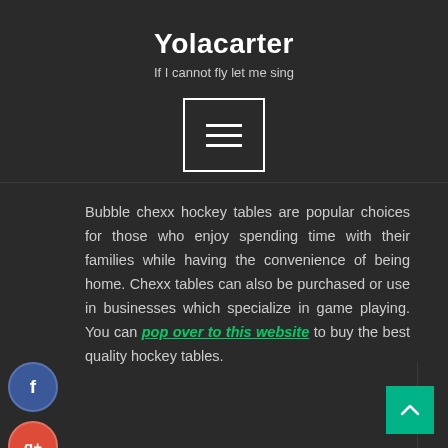Yolacarter
If I cannot fly let me sing
[Figure (other): Hamburger menu button - three horizontal lines inside a rectangular border]
Bubble chexx hockey tables are popular choices for those who enjoy spending time with their families while having the convenience of being home. Chexx tables can also be purchased or use in businesses which specialize in game playing. You can pop over to this website to buy the best quality hockey tables.
[Figure (other): Social media icons: Facebook (blue), Google+ (red), Twitter (blue), Plus (teal) arranged vertically on the left side]
[Figure (other): Back to top button - teal square with upward arrow chevron in bottom right corner]